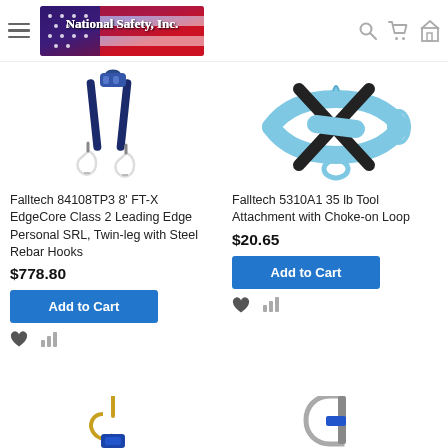National Safety, Inc.
[Figure (photo): Falltech 84108TP3 8' FT-X EdgeCore Class 2 Leading Edge Personal SRL, Twin-leg with Steel Rebar Hooks product image]
Falltech 84108TP3 8' FT-X EdgeCore Class 2 Leading Edge Personal SRL, Twin-leg with Steel Rebar Hooks
$778.80
Add to Cart
[Figure (photo): Falltech 5310A1 35 lb Tool Attachment with Choke-on Loop product image]
Falltech 5310A1 35 lb Tool Attachment with Choke-on Loop
$20.65
Add to Cart
[Figure (photo): Product image at bottom left (partial)]
[Figure (photo): Product image at bottom right (partial)]